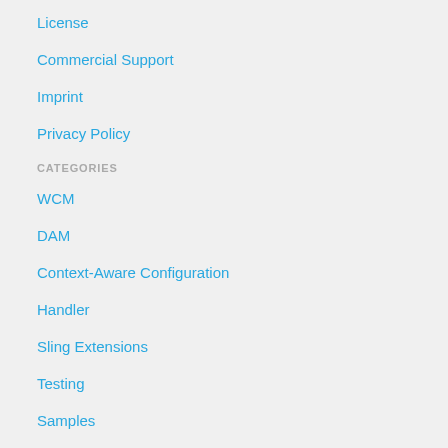License
Commercial Support
Imprint
Privacy Policy
CATEGORIES
WCM
DAM
Context-Aware Configuration
Handler
Sling Extensions
Testing
Samples
Tooling
CONTRIBUTE
Contribute
Manifest
Issues